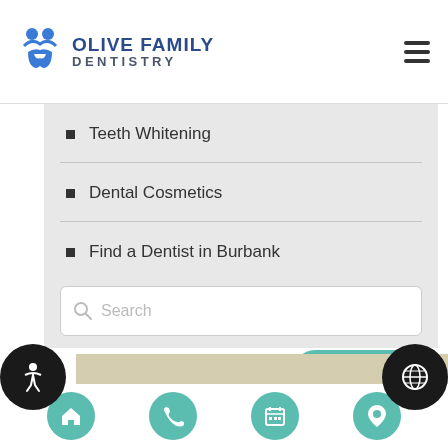OLIVE FAMILY DENTISTRY
Teeth Whitening
Dental Cosmetics
Find a Dentist in Burbank
[Figure (screenshot): Search box with placeholder text 'Search' and a teal 'Search' button]
[Figure (infographic): Bottom navigation bar with 4 teal icon circles: home, phone, calendar, location pin. Two black circles with accessibility and globe icons on sides.]